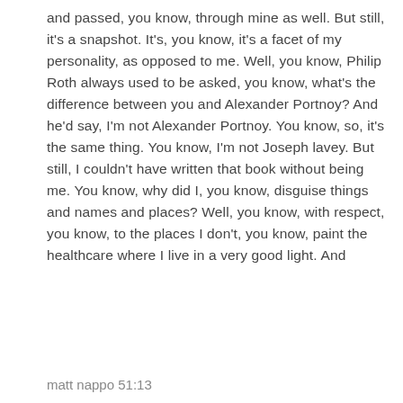and passed, you know, through mine as well. But still, it's a snapshot. It's, you know, it's a facet of my personality, as opposed to me. Well, you know, Philip Roth always used to be asked, you know, what's the difference between you and Alexander Portnoy? And he'd say, I'm not Alexander Portnoy. You know, so, it's the same thing. You know, I'm not Joseph lavey. But still, I couldn't have written that book without being me. You know, why did I, you know, disguise things and names and places? Well, you know, with respect, you know, to the places I don't, you know, paint the healthcare where I live in a very good light. And
matt nappo 51:13